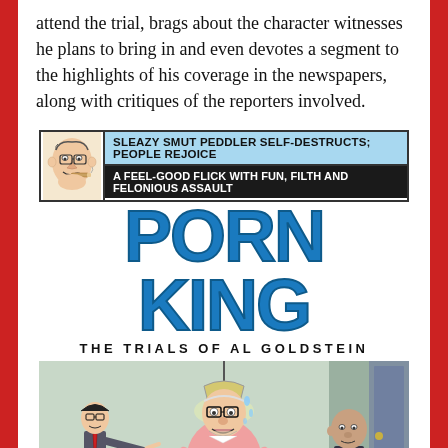attend the trial, brags about the character witnesses he plans to bring in and even devotes a segment to the highlights of his coverage in the newspapers, along with critiques of the reporters involved.
[Figure (illustration): Movie poster for 'Porn King: The Trials of Al Goldstein'. Top section has a caricature of a man with a cigar and headers: 'SLEAZY SMUT PEDDLER SELF-DESTRUCTS; PEOPLE REJOICE' in blue background, and 'A FEEL-GOOD FLICK WITH FUN, FILTH AND FELONIOUS ASSAULT' in black background. Main title 'PORN KING' in large blue block letters. Subtitle 'THE TRIALS OF AL GOLDSTEIN'. Bottom portion shows cartoon illustration of three figures in a room — a thin man pointing, a heavyset man in pink shirt sweating, and a bald man behind him.]